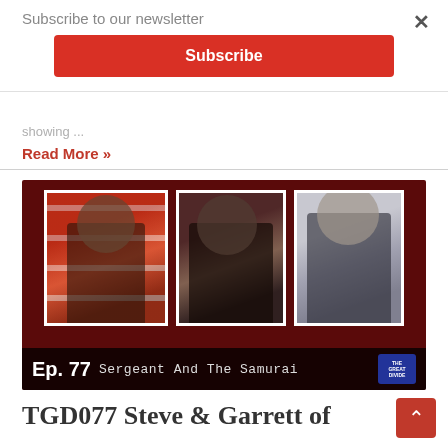Subscribe to our newsletter
Subscribe
showing ...
Read More »
[Figure (photo): Podcast thumbnail image showing three men wearing headphones and caps in front of microphones. Bottom bar reads: Ep. 77 Sergeant And The Samurai with The Great Divide logo.]
TGD077 Steve & Garrett of